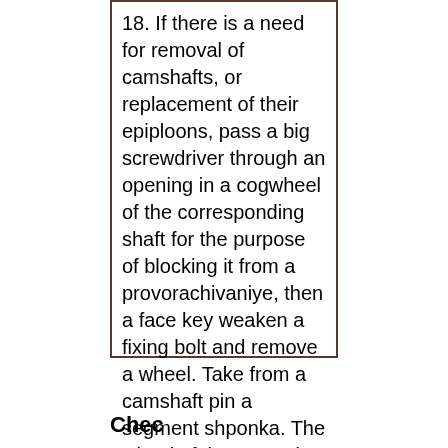18. If there is a need for removal of camshafts, or replacement of their epiploons, pass a big screwdriver through an opening in a cogwheel of the corresponding shaft for the purpose of blocking it from a provorachivaniye, then a face key weaken a fixing bolt and remove a wheel. Take from a camshaft pin a segment shponka. The wheel of the second shaft acts in film in a similar manner.
Chec...